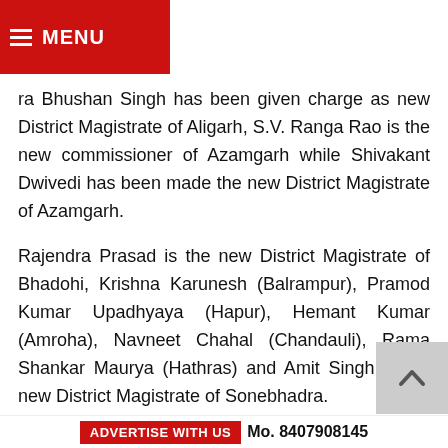MENU
ra Bhushan Singh has been given charge as new District Magistrate of Aligarh, S.V. Ranga Rao is the new commissioner of Azamgarh while Shivakant Dwivedi has been made the new District Magistrate of Azamgarh.
Rajendra Prasad is the new District Magistrate of Bhadohi, Krishna Karunesh (Balrampur), Pramod Kumar Upadhyaya (Hapur), Hemant Kumar (Amroha), Navneet Chahal (Chandauli), Rama Shankar Maurya (Hathras) and Amit Singh is the new District Magistrate of Sonebhadra.
Pranjal Yadav, who was special secretary in Udyog Bandhu and played an important role in the Investors Summit has surprisingly been shunted out and made the new director (Training).
ADVERTISE WITH US  Mo. 8407908145